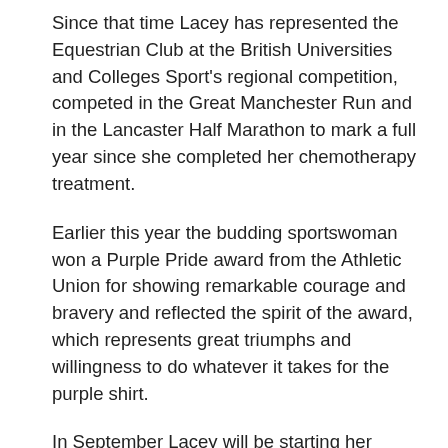Since that time Lacey has represented the Equestrian Club at the British Universities and Colleges Sport's regional competition, competed in the Great Manchester Run and in the Lancaster Half Marathon to mark a full year since she completed her chemotherapy treatment.
Earlier this year the budding sportswoman won a Purple Pride award from the Athletic Union for showing remarkable courage and bravery and reflected the spirit of the award, which represents great triumphs and willingness to do whatever it takes for the purple shirt.
In September Lacey will be starting her Masters in Science Communication where she plans to develop her expertise in science policy and science journalism. She has ambitions to become a journalist, and eventually play a role in influencing public science policy.